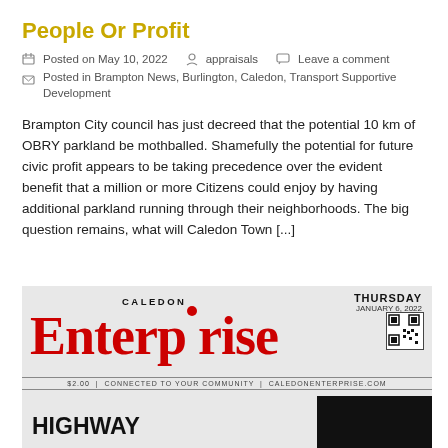People Or Profit
Posted on May 10, 2022   appraisals   Leave a comment
Posted in Brampton News, Burlington, Caledon, Transport Supportive Development
Brampton City council has just decreed that the potential 10 km of OBRY parkland be mothballed. Shamefully the potential for future civic profit appears to be taking precedence over the evident benefit that a million or more Citizens could enjoy by having additional parkland running through their neighborhoods. The big question remains, what will Caledon Town [...]
[Figure (photo): Caledon Enterprise newspaper front page masthead, Thursday January 6, 2022, showing bold red 'Enterprise' title with 'CALEDON' above it, tagline '$2.00 | CONNECTED TO YOUR COMMUNITY | CALEDONENTERPRISE.COM', QR code, and 'HIGHWAY' headline at the bottom.]